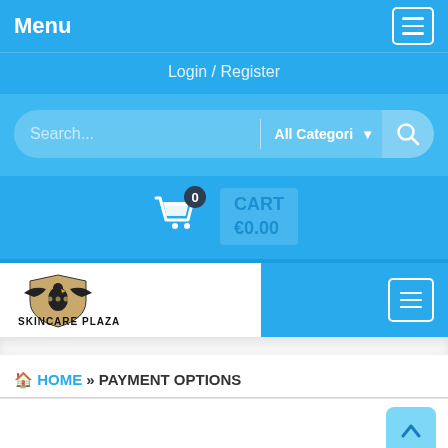Menu
Login / Register
[Figure (screenshot): Search bar with 'Search...' placeholder, 'All Categori' dropdown, and search magnifying glass icon]
CART €0.00
[Figure (logo): Skincare Plaza logo with eagle/shield emblem and text 'SKINCARE PLAZA']
HOME » PAYMENT OPTIONS
PAYMENT OPTIONS